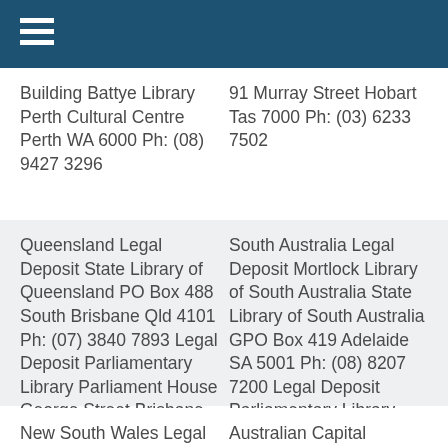Building Battye Library Perth Cultural Centre Perth WA 6000 Ph: (08) 9427 3296
91 Murray Street Hobart Tas 7000 Ph: (03) 6233 7502
Queensland Legal Deposit State Library of Queensland PO Box 488 South Brisbane Qld 4101 Ph: (07) 3840 7893 Legal Deposit Parliamentary Library Parliament House George Street Brisbane Qld 4000 Ph: (07) 3406 7199
South Australia Legal Deposit Mortlock Library of South Australia State Library of South Australia GPO Box 419 Adelaide SA 5001 Ph: (08) 8207 7200 Legal Deposit Parliamentary Library GPO Box 572 Adelaide SA 5001 Ph: (08) 8237 9398
New South Wales Legal Deposit State Library of
Australian Capital Territory Legal Deposit National